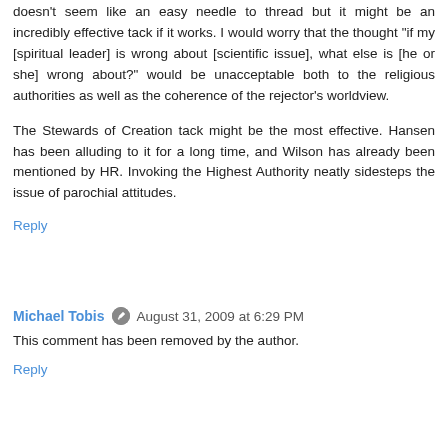doesn't seem like an easy needle to thread but it might be an incredibly effective tack if it works. I would worry that the thought "if my [spiritual leader] is wrong about [scientific issue], what else is [he or she] wrong about?" would be unacceptable both to the religious authorities as well as the coherence of the rejector's worldview.
The Stewards of Creation tack might be the most effective. Hansen has been alluding to it for a long time, and Wilson has already been mentioned by HR. Invoking the Highest Authority neatly sidesteps the issue of parochial attitudes.
Reply
Michael Tobis  August 31, 2009 at 6:29 PM
This comment has been removed by the author.
Reply
Hank Roberts  August 31, 2009 at 9:47 PM
TB, you've flatly declared that a large number of people